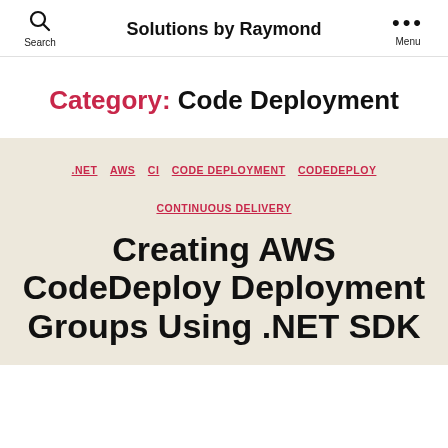Search | Solutions by Raymond | Menu
Category: Code Deployment
.NET  AWS  CI  CODE DEPLOYMENT  CODEDEPLOY  CONTINUOUS DELIVERY
Creating AWS CodeDeploy Deployment Groups Using .NET SDK